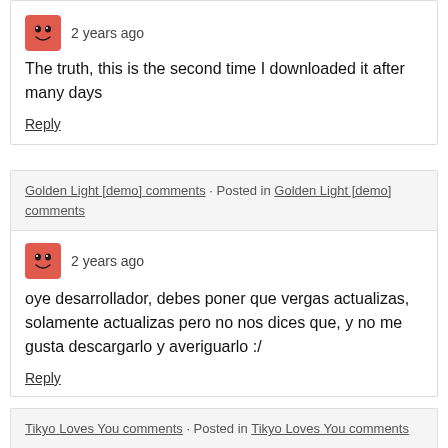2 years ago
The truth, this is the second time I downloaded it after many days
Reply
Golden Light [demo] comments · Posted in Golden Light [demo] comments
2 years ago
oye desarrollador, debes poner que vergas actualizas, solamente actualizas pero no nos dices que, y no me gusta descargarlo y averiguarlo :/
Reply
Tikyo Loves You comments · Posted in Tikyo Loves You comments